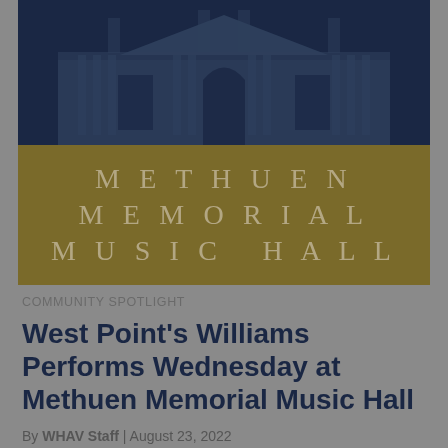[Figure (logo): Methuen Memorial Music Hall logo: dark navy blue background with an architectural illustration of a classical building with columns and pediment on top, and a golden/olive colored banner below with the text METHUEN MEMORIAL MUSIC HALL in large spaced serif letters]
COMMUNITY SPOTLIGHT
West Point's Williams Performs Wednesday at Methuen Memorial Music Hall
By WHAV Staff | August 23, 2022